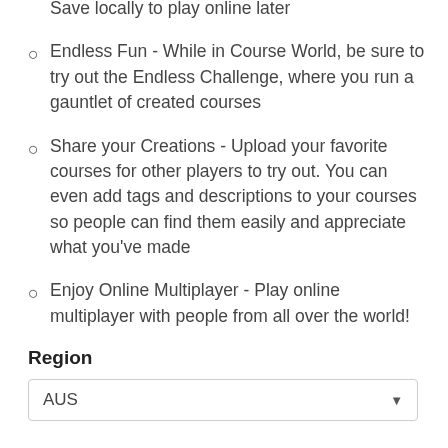Save locally to play online later
Endless Fun - While in Course World, be sure to try out the Endless Challenge, where you run a gauntlet of created courses
Share your Creations - Upload your favorite courses for other players to try out. You can even add tags and descriptions to your courses so people can find them easily and appreciate what you've made
Enjoy Online Multiplayer - Play online multiplayer with people from all over the world!
Region
AUS